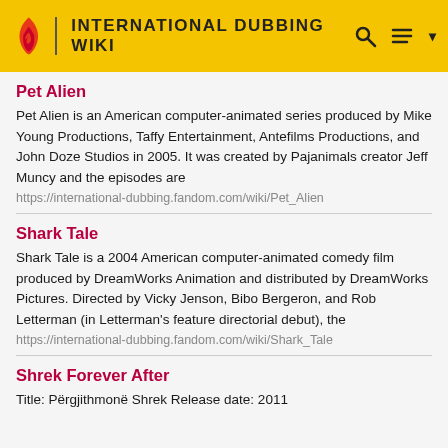INTERNATIONAL DUBBING WIKI
Pet Alien
Pet Alien is an American computer-animated series produced by Mike Young Productions, Taffy Entertainment, Antefilms Productions, and John Doze Studios in 2005. It was created by Pajanimals creator Jeff Muncy and the episodes are
https://international-dubbing.fandom.com/wiki/Pet_Alien
Shark Tale
Shark Tale is a 2004 American computer-animated comedy film produced by DreamWorks Animation and distributed by DreamWorks Pictures. Directed by Vicky Jenson, Bibo Bergeron, and Rob Letterman (in Letterman's feature directorial debut), the
https://international-dubbing.fandom.com/wiki/Shark_Tale
Shrek Forever After
Title: Përgjithmonë Shrek Release date: 2011